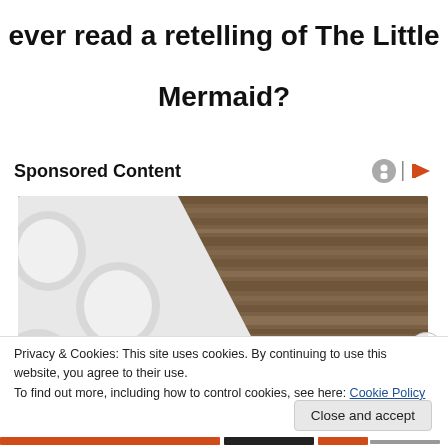ever read a retelling of The Little Mermaid?
Sponsored Content
[Figure (photo): Advertisement image showing white round pills/capsules on a white surface next to weathered wood texture background, with a small blue pill visible. A cookie consent banner overlays the bottom portion.]
Privacy & Cookies: This site uses cookies. By continuing to use this website, you agree to their use.
To find out more, including how to control cookies, see here: Cookie Policy
Close and accept